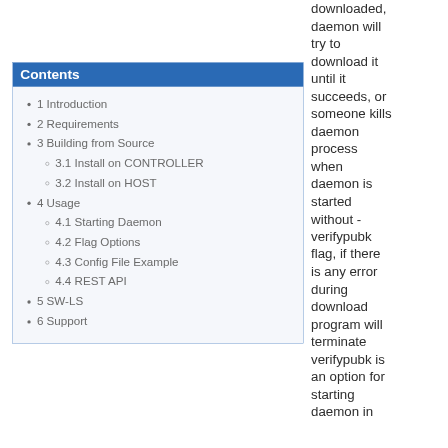downloaded, daemon will try to download it until it succeeds, or someone kills daemon process when daemon is started without -verifypubk flag, if there is any error during download program will terminate verifypubk is an option for starting daemon in
Contents
1 Introduction
2 Requirements
3 Building from Source
3.1 Install on CONTROLLER
3.2 Install on HOST
4 Usage
4.1 Starting Daemon
4.2 Flag Options
4.3 Config File Example
4.4 REST API
5 SW-LS
6 Support